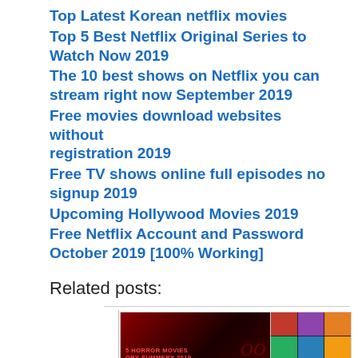Top Latest Korean netflix movies
Top 5 Best Netflix Original Series to Watch Now 2019
The 10 best shows on Netflix you can stream right now September 2019
Free movies download websites without registration 2019
Free TV shows online full episodes no signup 2019
Upcoming Hollywood Movies 2019
Free Netflix Account and Password October 2019 [100% Working]
Related posts:
[Figure (photo): Horror movies collage with text '5 HORROR MOVIES ORY SUMMERY 2019' on dark red background]
[Figure (photo): Collage of multiple movie posters in a grid layout]